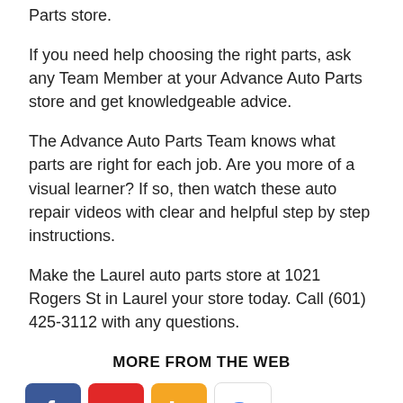Parts store.
If you need help choosing the right parts, ask any Team Member at your Advance Auto Parts store and get knowledgeable advice.
The Advance Auto Parts Team knows what parts are right for each job. Are you more of a visual learner? If so, then watch these auto repair videos with clear and helpful step by step instructions.
Make the Laurel auto parts store at 1021 Rogers St in Laurel your store today. Call (601) 425-3112 with any questions.
MORE FROM THE WEB
[Figure (logo): Row of social/search icons: Facebook (blue), Flipboard (red), Bing (orange), Google (white with color G)]